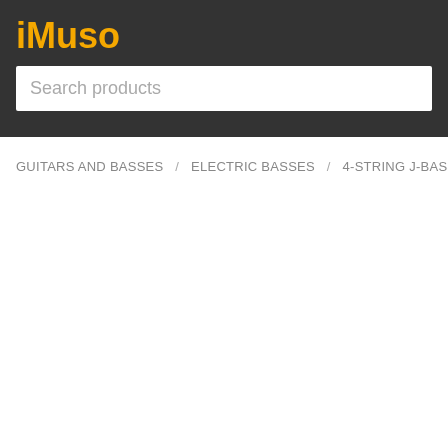iMuso
Search products
GUITARS AND BASSES / ELECTRIC BASSES / 4-STRING J-BASSES